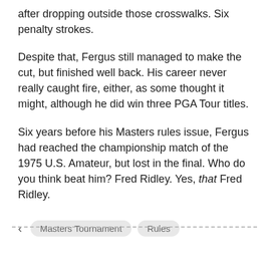after dropping outside those crosswalks. Six penalty strokes.
Despite that, Fergus still managed to make the cut, but finished well back. His career never really caught fire, either, as some thought it might, although he did win three PGA Tour titles.
Six years before his Masters rules issue, Fergus had reached the championship match of the 1975 U.S. Amateur, but lost in the final. Who do you think beat him? Fred Ridley. Yes, that Fred Ridley.
Masters Tournament  Rules